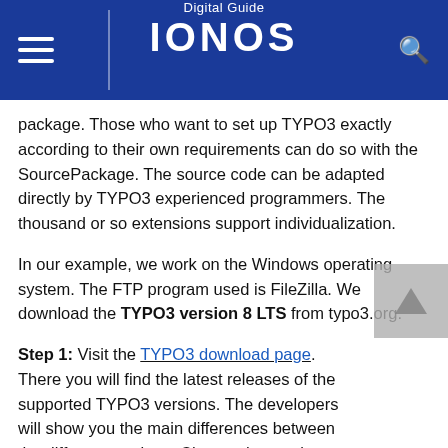Digital Guide IONOS
package. Those who want to set up TYPO3 exactly according to their own requirements can do so with the SourcePackage. The source code can be adapted directly by TYPO3 experienced programmers. The thousand or so extensions support individualization.
In our example, we work on the Windows operating system. The FTP program used is FileZilla. We download the TYPO3 version 8 LTS from typo3.org.
Step 1: Visit the TYPO3 download page. There you will find the latest releases of the supported TYPO3 versions. The developers will show you the main differences between the different versions. Choose the version that suits you best. For example, to install TYPO3 8, click on “Get Version 8”. This will take you to the download page.